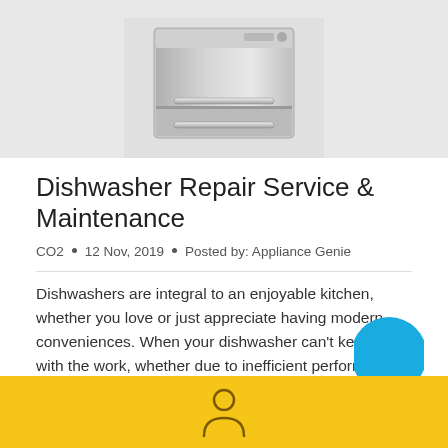[Figure (photo): Photograph of a stainless steel dishwasher appliance, partially cropped, against a light gray background]
Dishwasher Repair Service & Maintenance
CO2  •  12 Nov, 2019  •  Posted by: Appliance Genie
Dishwashers are integral to an enjoyable kitchen, whether you love or just appreciate having modern conveniences. When your dishwasher can't keep up with the work, whether due to inefficient performance or part damage, it can be frustrating.